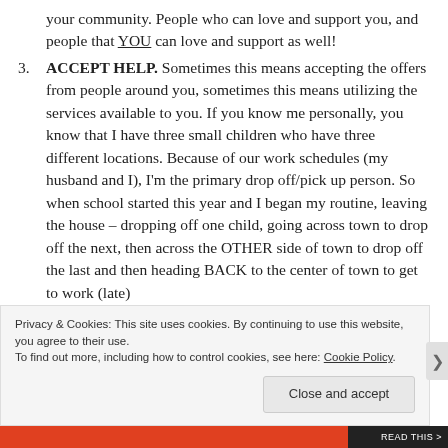your community. People who can love and support you, and people that YOU can love and support as well!
3. ACCEPT HELP. Sometimes this means accepting the offers from people around you, sometimes this means utilizing the services available to you. If you know me personally, you know that I have three small children who have three different locations. Because of our work schedules (my husband and I), I'm the primary drop off/pick up person. So when school started this year and I began my routine, leaving the house – dropping off one child, going across town to drop off the next, then across the OTHER side of town to drop off the last and then heading BACK to the center of town to get to work (late)
Privacy & Cookies: This site uses cookies. By continuing to use this website, you agree to their use.
To find out more, including how to control cookies, see here: Cookie Policy
Close and accept